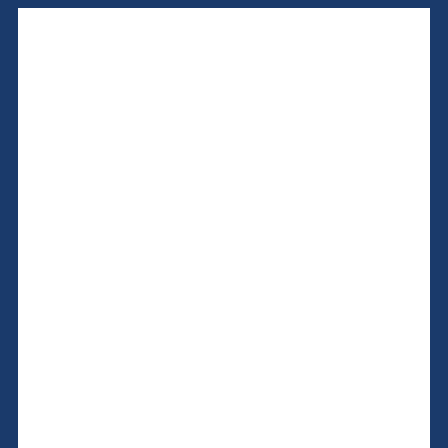Eight (8) Rustproof Black License Plate Screws - Set of 8 Stainless Steel License Plate Frame Screws for Fastening License Plates, Frames and Covers (Black Stainless Steel), License Plate Frames - Silicone License Plate Frame with Patented Design 5 Drainage Holes, Rain-Proof, Anti-Rust and Anti-Rattle for Car License Plate Frame, 2PCS Silver Fit Boston Red Sox License Plate Frame Car Accessories, Stainless Steel Sandblast Oxidation Polished Plate Frames Frames to Protect Plates, for US Car Standard Car License Frame, 2 Pack Bling License Plate Frame Premium Stainless Steel Metal License Plate Cover Pure Handmade Glitter Rhinestones Car License Plate Holder with 2 Holes Bonus Matching Screws Caps, Four (4) Rustproof Black License Plate Screws - Set of 4 Stainless Steel License Plate Frame Screws for Fastening License Plates, Frames and Covers (Black Stainless Steel), Shering Bling License Plate Frame, 2 Pack License Plate Frame with Premium Gift Box